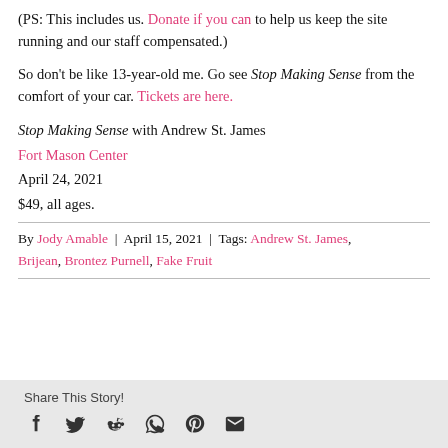(PS: This includes us. Donate if you can to help us keep the site running and our staff compensated.)
So don't be like 13-year-old me. Go see Stop Making Sense from the comfort of your car. Tickets are here.
Stop Making Sense with Andrew St. James
Fort Mason Center
April 24, 2021
$49, all ages.
By Jody Amable | April 15, 2021 | Tags: Andrew St. James, Brijean, Brontez Purnell, Fake Fruit
Share This Story!